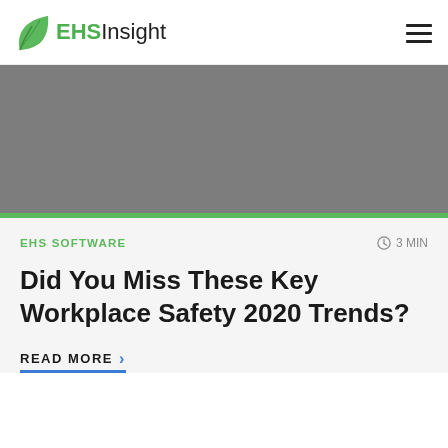EHS Insight
[Figure (photo): Gray placeholder hero image banner]
EHS SOFTWARE
3 MIN
Did You Miss These Key Workplace Safety 2020 Trends?
READ MORE >